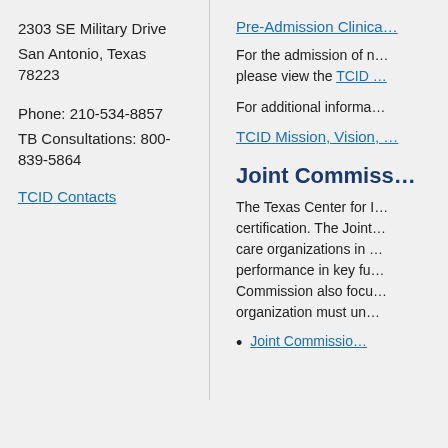2303 SE Military Drive
San Antonio, Texas 78223
Phone: 210-534-8857
TB Consultations: 800-839-5864
TCID Contacts
Pre-Admission Clinica…
For the admission of n… please view the TCID …
For additional informa…
TCID Mission, Vision, …
Joint Commiss…
The Texas Center for I… certification. The Joint … care organizations in … performance in key fu… Commission also focu… organization must un…
Joint Commissio…